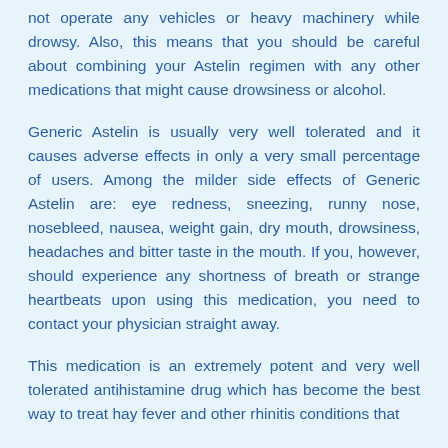not operate any vehicles or heavy machinery while drowsy. Also, this means that you should be careful about combining your Astelin regimen with any other medications that might cause drowsiness or alcohol.
Generic Astelin is usually very well tolerated and it causes adverse effects in only a very small percentage of users. Among the milder side effects of Generic Astelin are: eye redness, sneezing, runny nose, nosebleed, nausea, weight gain, dry mouth, drowsiness, headaches and bitter taste in the mouth. If you, however, should experience any shortness of breath or strange heartbeats upon using this medication, you need to contact your physician straight away.
This medication is an extremely potent and very well tolerated antihistamine drug which has become the best way to treat hay fever and other rhinitis conditions that